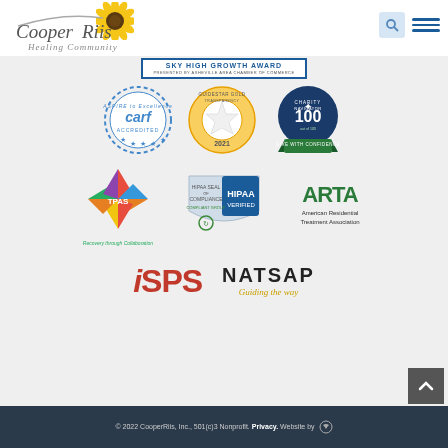[Figure (logo): CooperRiis Healing Community logo with sunflower graphic and cursive/serif text]
[Figure (logo): SKY HIGH GROWTH AWARD - Presented by Asheville Area Chamber of Commerce banner]
[Figure (logo): CARF Accredited - Aspire to Excellence badge]
[Figure (logo): GuideStar Gold Transparency 2021 badge]
[Figure (logo): Charity Navigator 100 out of 100 Give With Confidence badge]
[Figure (logo): TPAS - Recovery through Collaboration logo]
[Figure (logo): HIPAA Seal of Compliance - HIPAA Verified badge]
[Figure (logo): ARTA - American Residential Treatment Association logo]
[Figure (logo): iSPS logo in red]
[Figure (logo): NATSAP - Guiding the way logo]
© 2022 CooperRiis, Inc., 501(c)3 Nonprofit. Privacy. Website by [logo]